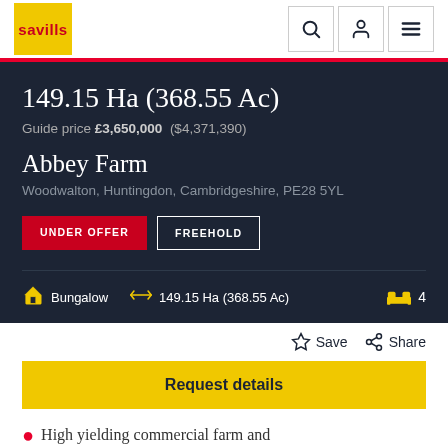savills
149.15 Ha (368.55 Ac)
Guide price £3,650,000  ($4,371,390)
Abbey Farm
Woodwalton, Huntingdon, Cambridgeshire, PE28 5YL
UNDER OFFER   FREEHOLD
Bungalow   149.15 Ha (368.55 Ac)   4
Save   Share
Request details
High yielding commercial farm and